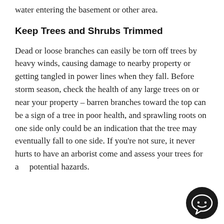water entering the basement or other area.
Keep Trees and Shrubs Trimmed
Dead or loose branches can easily be torn off trees by heavy winds, causing damage to nearby property or getting tangled in power lines when they fall. Before storm season, check the health of any large trees on or near your property – barren branches toward the top can be a sign of a tree in poor health, and sprawling roots on one side only could be an indication that the tree may eventually fall to one side. If you’re not sure, it never hurts to have an arborist come and assess your trees for any potential hazards.
[Figure (illustration): Black circular chat/message bubble icon in bottom-right corner]